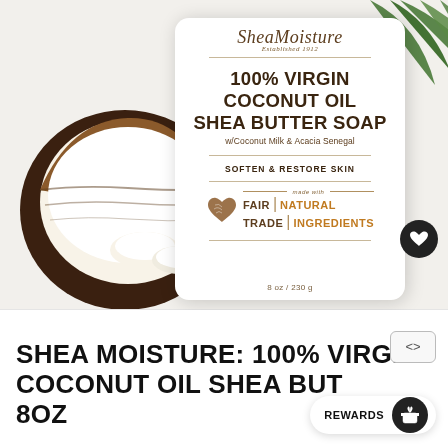[Figure (photo): SheaMoisture 100% Virgin Coconut Oil Shea Butter Soap product box (white rectangular box with rounded corners) displayed upright against a white background, with a halved coconut and coconut pieces in the foreground-left, and green palm leaves in the upper-right background. The box shows the SheaMoisture brand logo (script italic), '100% VIRGIN COCONUT OIL SHEA BUTTER SOAP', 'w/Coconut Milk & Acacia Senegal', 'SOFTEN & RESTORE SKIN', a fair trade/natural ingredients heart badge, and '8 oz / 230 g'.]
SHEA MOISTURE: 100% VIRGIN COCONUT OIL SHEA BUTTER 8OZ